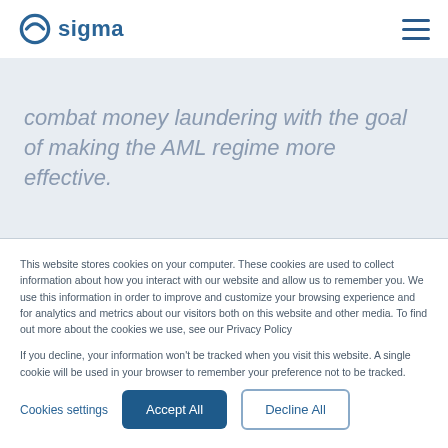sigma
combat money laundering with the goal of making the AML regime more effective.
This website stores cookies on your computer. These cookies are used to collect information about how you interact with our website and allow us to remember you. We use this information in order to improve and customize your browsing experience and for analytics and metrics about our visitors both on this website and other media. To find out more about the cookies we use, see our Privacy Policy

If you decline, your information won't be tracked when you visit this website. A single cookie will be used in your browser to remember your preference not to be tracked.
Cookies settings  Accept All  Decline All